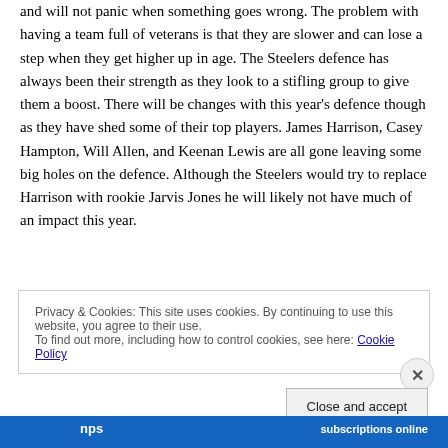and will not panic when something goes wrong. The problem with having a team full of veterans is that they are slower and can lose a step when they get higher up in age. The Steelers defence has always been their strength as they look to a stifling group to give them a boost. There will be changes with this year's defence though as they have shed some of their top players. James Harrison, Casey Hampton, Will Allen, and Keenan Lewis are all gone leaving some big holes on the defence. Although the Steelers would try to replace Harrison with rookie Jarvis Jones he will likely not have much of an impact this year.
Privacy & Cookies: This site uses cookies. By continuing to use this website, you agree to their use.
To find out more, including how to control cookies, see here: Cookie Policy
Close and accept